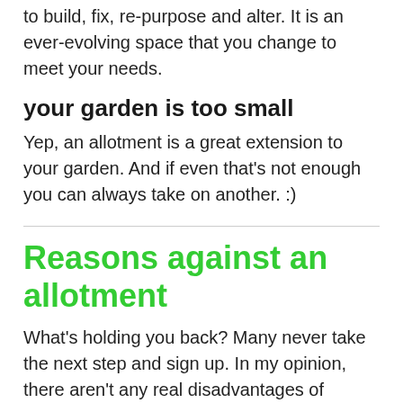to build, fix, re-purpose and alter. It is an ever-evolving space that you change to meet your needs.
your garden is too small
Yep, an allotment is a great extension to your garden. And if even that's not enough you can always take on another. :)
Reasons against an allotment
What's holding you back? Many never take the next step and sign up. In my opinion, there aren't any real disadvantages of holding an allotment. But here are some of the perceived ones.